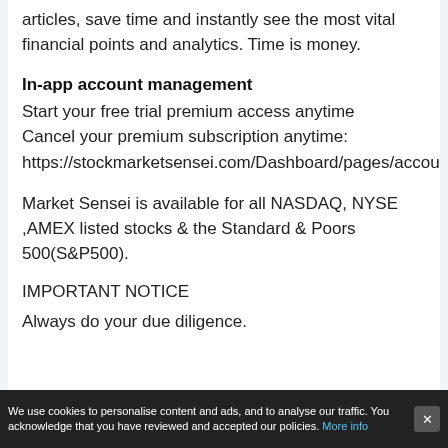articles, save time and instantly see the most vital financial points and analytics. Time is money.
In-app account management
Start your free trial premium access anytime
Cancel your premium subscription anytime:
https://stockmarketsensei.com/Dashboard/pages/account
Market Sensei is available for all NASDAQ, NYSE ,AMEX listed stocks & the Standard & Poors 500(S&P500).
IMPORTANT NOTICE
Always do your due diligence.
We use cookies to personalise content and ads, and to analyse our traffic. You acknowledge that you have reviewed and accepted our policies. More info